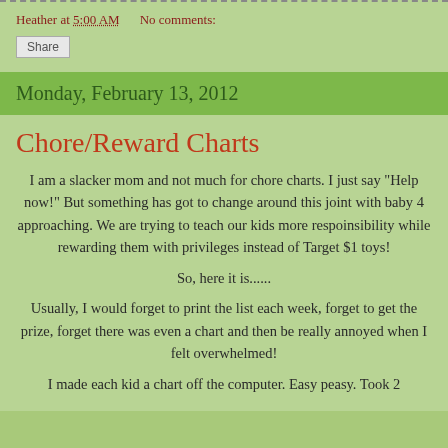Heather at 5:00 AM    No comments:
Share
Monday, February 13, 2012
Chore/Reward Charts
I am a slacker mom and not much for chore charts. I just say "Help now!" But something has got to change around this joint with baby 4 approaching. We are trying to teach our kids more respoinsibility while rewarding them with privileges instead of Target $1 toys!
So, here it is......
Usually, I would forget to print the list each week, forget to get the prize, forget there was even a chart and then be really annoyed when I felt overwhelmed!
I made each kid a chart off the computer. Easy peasy. Took 2